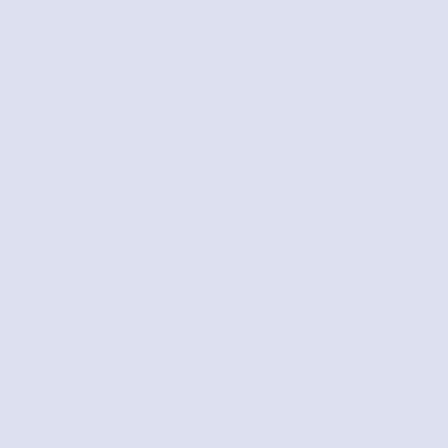Liaison to fo...
3.      Would yo... report perceive... Country Flood ...
Yes, I plan to... Pollution Con...
potential hots...
[Figure (other): Contact Us button/bar overlay]
4.      How do y... development p... regarding drain... Technical Partn... scrutiny. Reside... the best interes... drainage, lack ... allow developm... surrounding co... all, I have bee... like to hear sp... I have seen fi... development.... established c...
5.      When pr... surrounding are... engineering an...